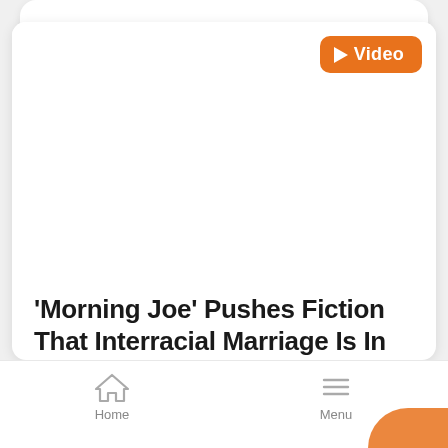[Figure (screenshot): Video thumbnail area — white background with orange Video badge in top-right corner containing a play triangle icon and the word 'Video']
'Morning Joe' Pushes Fiction That Interracial Marriage Is In Danger
Mark Finkelstein
[Figure (other): Bottom navigation bar with Home icon (house) and Menu icon (hamburger lines), with an orange rounded shape in bottom-right corner]